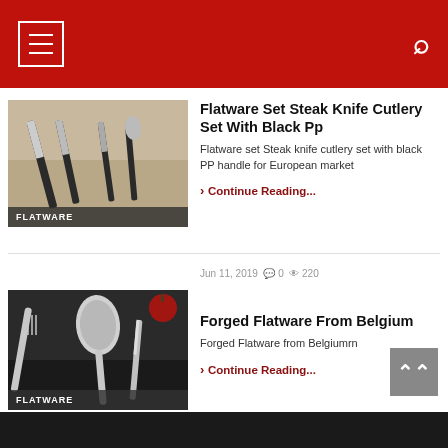Navigation menu and search
Flatware Set Steak Knife Cutlery Set With Black Pp
Flatware set Steak knife cutlery set with black PP handle for European market
> Continue Reading...
FLATWARE
Jun 11, 2019  0  220
Forged Flatware From Belgium
Forged Flatware from Belgiumrn
> Continue Reading...
FLATWARE